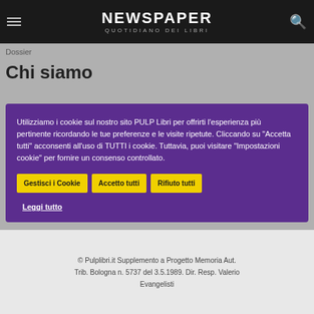NEWSPAPER QUOTIDIANO DEI LIBRI
Dossier
Chi siamo
Utilizziamo i cookie sul nostro sito PULP Libri per offrirti l'esperienza più pertinente ricordando le tue preferenze e le visite ripetute. Cliccando su "Accetta tutti" acconsenti all'uso di TUTTI i cookie. Tuttavia, puoi visitare "Impostazioni cookie" per fornire un consenso controllato.
Leggi tutto
redazione@pulplibri.it
domenico.gallo@fastwebnet.it
© Pulplibri.it Supplemento a Progetto Memoria Aut. Trib. Bologna n. 5737 del 3.5.1989. Dir. Resp. Valerio Evangelisti